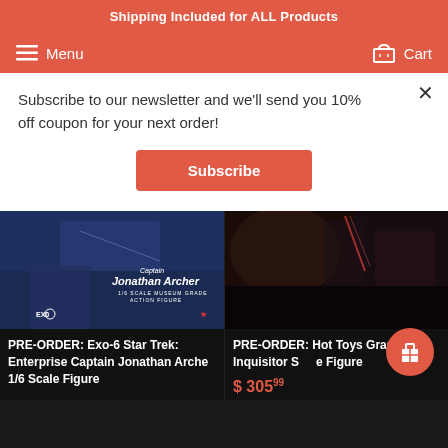Shipping Included for ALL Products
Menu
Cart
Subscribe to our newsletter and we'll send you 10% off coupon for your next order!
Subscribe
[Figure (photo): Captain Jonathan Archer 1/6 scale museum grade action figure product image by Exo-6, Star Trek Enterprise]
PRE-ORDER: Exo-6 Star Trek: Enterprise Captain Jonathan Arche 1/6 Scale Figure
[Figure (photo): Hot Toys Grand Inquisitor Star Wars action figure product image]
PRE-ORDER: Hot Toys Grand Inquisitor Scale Figure
$ 305.99